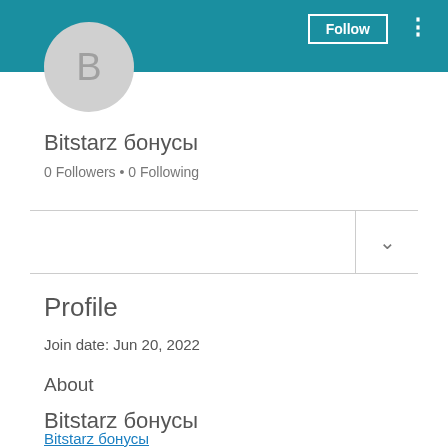[Figure (screenshot): User profile page screenshot with teal header banner, circular avatar with letter B, username Bitstarz бонусы, follower count, dropdown section, profile section with join date, about section, and repeated username with link]
Bitstarz бонусы
0 Followers • 0 Following
Profile
Join date: Jun 20, 2022
About
Bitstarz бонусы
Bitstarz бонусы